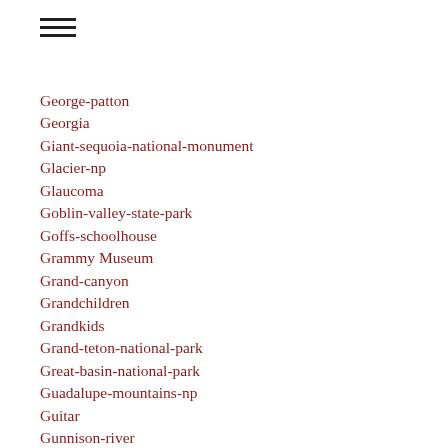George-patton
Georgia
Giant-sequoia-national-monument
Glacier-np
Glaucoma
Goblin-valley-state-park
Goffs-schoolhouse
Grammy Museum
Grand-canyon
Grandchildren
Grandkids
Grand-teton-national-park
Great-basin-national-park
Guadalupe-mountains-np
Guitar
Gunnison-river
Gunnison-river
Gurf Morlix